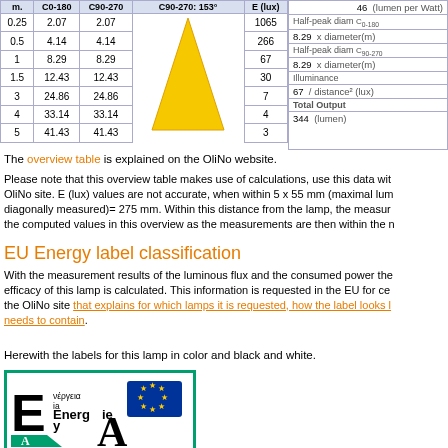| m. | C0-180 | C90-270 | C90-270: 153° | E (lux) |
| --- | --- | --- | --- | --- |
| 0.25 | 2.07 | 2.07 |  | 1065 |
| 0.5 | 4.14 | 4.14 |  | 266 |
| 1 | 8.29 | 8.29 |  | 67 |
| 1.5 | 12.43 | 12.43 |  | 30 |
| 3 | 24.86 | 24.86 |  | 7 |
| 4 | 33.14 | 33.14 |  | 4 |
| 5 | 41.43 | 41.43 |  | 3 |
| Property | Value |
| --- | --- |
| (lumen per Watt) | 46 |
| Half-peak diam C0-180 |  |
| x diameter(m) | 8.29 |
| Half-peak diam C90-270 |  |
| x diameter(m) | 8.29 |
| Illuminance |  |
| / distance² (lux) | 67 |
| Total Output |  |
| (lumen) | 344 |
The overview table is explained on the OliNo website.
Please note that this overview table makes use of calculations, use this data with caution and check the OliNo site. E (lux) values are not accurate, when within 5 x 55 mm (maximal lumen package size, diagonally measured)= 275 mm. Within this distance from the lamp, the measured values deviate from the computed values in this overview as the measurements are then within the near field.
EU Energy label classification
With the measurement results of the luminous flux and the consumed power the luminous efficacy of this lamp is calculated. This information is requested in the EU for certain lamps. Check the OliNo site that explains for which lamps it is requested, how the label looks like and what it needs to contain.
Herewith the labels for this lamp in color and black and white.
[Figure (illustration): EU Energy label showing Energie/Energy label with Greek and other language text, EU stars logo, and letter A rating with arrow graphic]